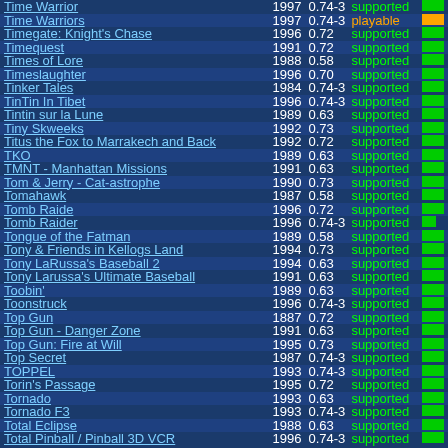| Game | Year | Version | Status | Bar |
| --- | --- | --- | --- | --- |
| Time Warrior | 1997 | 0.74-3 | supported | green |
| Time Warriors | 1997 | 0.74-3 | playable | orange |
| Timegate: Knight's Chase | 1996 | 0.72 | supported | green |
| Timequest | 1991 | 0.72 | supported | green |
| Times of Lore | 1988 | 0.58 | supported | green |
| Timeslaughter | 1996 | 0.70 | supported | green |
| Tinker Tales | 1984 | 0.74-3 | supported | green |
| TinTin In Tibet | 1996 | 0.74-3 | supported | green |
| Tintin sur la Lune | 1989 | 0.63 | supported | green |
| Tiny Skweeks | 1992 | 0.73 | supported | green |
| Titus the Fox to Marrakech and Back | 1992 | 0.72 | supported | green |
| TKO | 1989 | 0.63 | supported | green |
| TMNT - Manhattan Missions | 1991 | 0.63 | supported | green |
| Tom & Jerry - Cat-astrophe | 1990 | 0.73 | supported | green |
| Tomahawk | 1987 | 0.58 | supported | green |
| Tomb Raide | 1996 | 0.72 | supported | green |
| Tomb Raider | 1996 | 0.74-3 | supported | green-partial |
| Tongue of the Fatman | 1989 | 0.58 | supported | green |
| Tony & Friends in Kellogs Land | 1994 | 0.73 | supported | green |
| Tony LaRussa's Baseball 2 | 1994 | 0.63 | supported | green |
| Tony Larussa's Ultimate Baseball | 1991 | 0.63 | supported | green |
| Toobin' | 1989 | 0.63 | supported | green |
| Toonstruck | 1996 | 0.74-3 | supported | green |
| Top Gun | 1887 | 0.72 | supported | green |
| Top Gun - Danger Zone | 1991 | 0.63 | supported | green |
| Top Gun: Fire at Will | 1995 | 0.73 | supported | green |
| Top Secret | 1987 | 0.74-3 | supported | green |
| TOPPEL | 1993 | 0.74-3 | supported | green |
| Torin's Passage | 1995 | 0.72 | supported | green |
| Tornado | 1993 | 0.63 | supported | green |
| Tornado F3 | 1993 | 0.74-3 | supported | green |
| Total Eclipse | 1988 | 0.63 | supported | green |
| Total Pinball / Pinball 3D VCR | 1996 | 0.74-3 | supported | green |